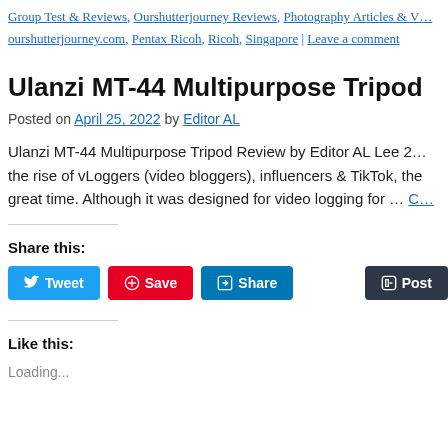Group Test & Reviews, Ourshutterjourney Reviews, Photography Articles & V... ourshutterjourney.com, Pentax Ricoh, Ricoh, Singapore | Leave a comment
Ulanzi MT-44 Multipurpose Tripod
Posted on April 25, 2022 by Editor AL
Ulanzi MT-44 Multipurpose Tripod Review by Editor AL Lee 2... the rise of vLoggers (video bloggers), influencers & TikTok, the great time. Although it was designed for video logging for … C...
Share this:
Like this:
Loading...